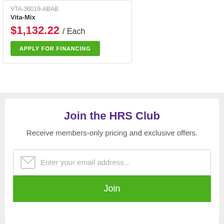VTA-36019-ABAB
Vita-Mix
$1,132.22 / Each
APPLY FOR FINANCING
Join the HRS Club
Receive members-only pricing and exclusive offers.
Enter your email address...
Join